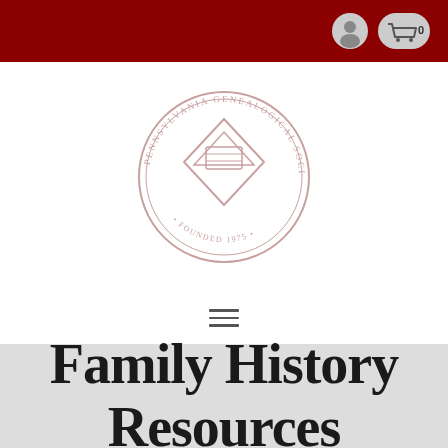Navigation header with user icon and cart (0) on dark red background
[Figure (logo): Pennsylvania Genealogical Society circular seal/logo in light rose/pink color, featuring a diamond/triangle shape in the center, with text around the perimeter and 'FOUNDED 1975' at the bottom]
[Figure (other): Hamburger menu icon (three horizontal lines) centered in navigation bar]
Family History Resources